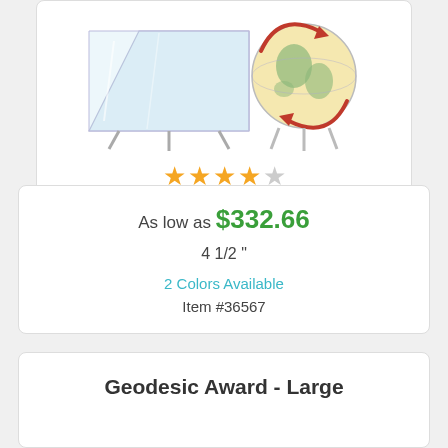[Figure (photo): Product photo showing two awards: a clear crystal plaque on a stand and a decorative globe award with red arrows, on chrome legs]
★★★★☆
As low as $332.66
4 1/2 "
2 Colors Available
Item #36567
Geodesic Award - Large
[Figure (photo): Large clear glass geodesic award with etched globe and 'trips2intl global' logo text]